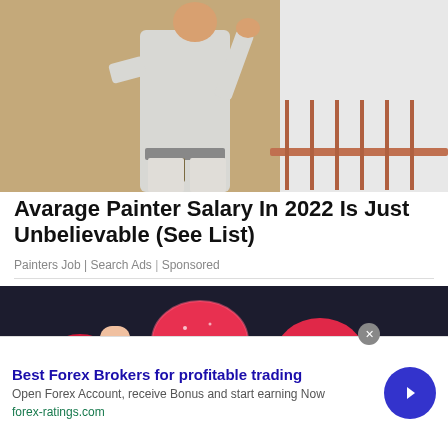[Figure (photo): A person in white clothes painting a wall, viewed from behind, with a tan/gold wall and white railing visible.]
Avarage Painter Salary In 2022 Is Just Unbelievable (See List)
Painters Job | Search Ads | Sponsored
[Figure (photo): A hand holding several red sugar-coated gummy candies against a dark background.]
Best Forex Brokers for profitable trading
Open Forex Account, receive Bonus and start earning Now
forex-ratings.com